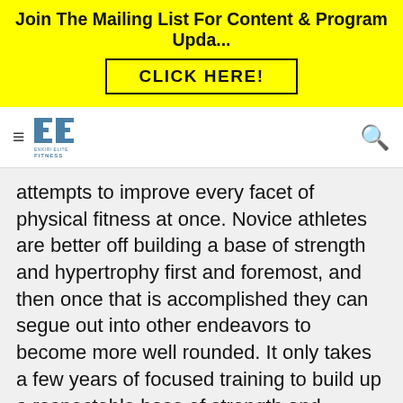Join The Mailing List For Content & Program Upda...
[Figure (logo): Enkiri Elite Fitness logo with double-E symbol and text]
attempts to improve every facet of physical fitness at once. Novice athletes are better off building a base of strength and hypertrophy first and foremost, and then once that is accomplished they can segue out into other endeavors to become more well rounded. It only takes a few years of focused training to build up a respectable base of strength and hypertrophy, and that base is going to transfer into every other physical activity that you ever attempt to do.